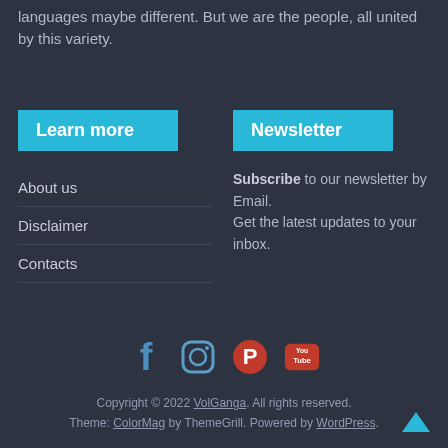languages maybe different. But we are the people, all united by this variety.
Learn more
Newsletter
About us
Disclaimer
Contacts
Subscribe to our newsletter by Email. Get the latest updates to your inbox.
[Figure (infographic): Social media icons: Facebook, Instagram, Pinterest, YouTube]
Copyright © 2022 VolGanga. All rights reserved.
Theme: ColorMag by ThemeGrill. Powered by WordPress.